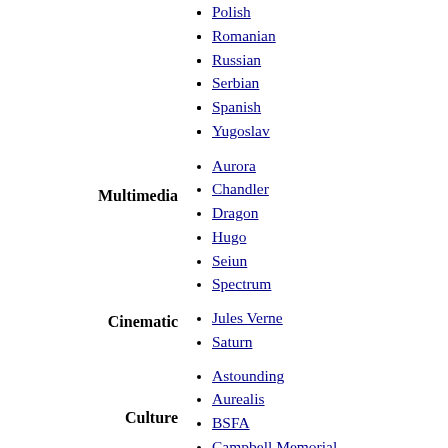Polish
Romanian
Russian
Serbian
Spanish
Yugoslav
Multimedia
Aurora
Chandler
Dragon
Hugo
Seiun
Spectrum
Cinematic
Jules Verne
Saturn
Culture
Astounding
Aurealis
BSFA
Campbell Memorial
Chesley
Clarke
Crook
Deutscher